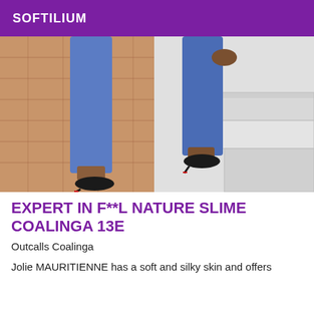SOFTILIUM
[Figure (photo): Lower body of a person wearing blue skinny jeans and black high heel stiletto shoes with red soles, walking on brick pavement and white stone steps outdoors]
EXPERT IN F**L NATURE SLIME COALINGA 13E
Outcalls Coalinga
Jolie MAURITIENNE has a soft and silky skin and offers